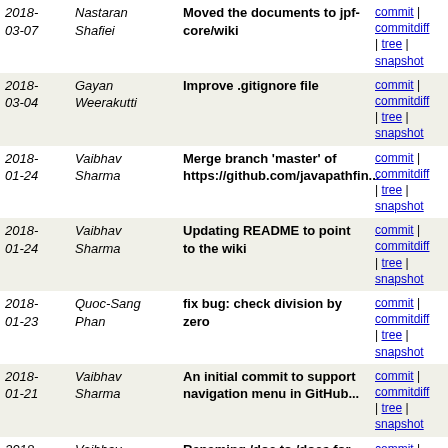| Date | Author | Message | Links |
| --- | --- | --- | --- |
| 2018-03-07 | Nastaran Shafiei | Moved the documents to jpf-core/wiki | commit | commitdiff | tree | snapshot |
| 2018-03-04 | Gayan Weerakutti | Improve .gitignore file | commit | commitdiff | tree | snapshot |
| 2018-01-24 | Vaibhav Sharma | Merge branch 'master' of https://github.com/javapathfin... | commit | commitdiff | tree | snapshot |
| 2018-01-24 | Vaibhav Sharma | Updating README to point to the wiki | commit | commitdiff | tree | snapshot |
| 2018-01-23 | Quoc-Sang Phan | fix bug: check division by zero | commit | commitdiff | tree | snapshot |
| 2018-01-21 | Vaibhav Sharma | An initial commit to support navigation menu in GitHub... | commit | commitdiff | tree | snapshot |
| 2018-01-16 | Vaibhav Sharma | Renaming /doc to /docs for use with GitHub Pages | commit | commitdiff | tree | snapshot |
| 2017-05-31 | Nastaran Shafiei | Renamed readme | commit | commitdiff | tree | snapshot |
| 2017-05-31 | Nastaran Shafiei | Initial import | commit | commitdiff | tree | snapshot |
| 2017- | nastaran- | Initial commit | commit | commitdiff |